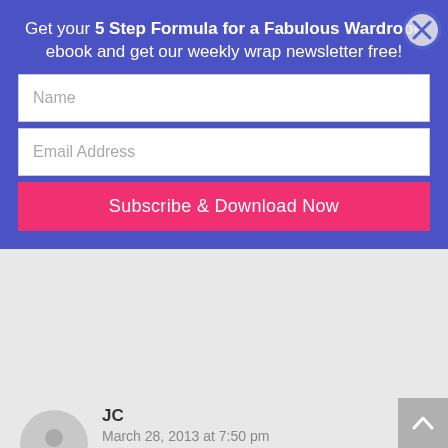[Figure (screenshot): Newsletter signup overlay with blue background. Contains title text, name input field, email address input field, and a pink Subscribe & Download Now button. A circular close (X) button is in the top right corner.]
JC
March 28, 2013 at 7:50 pm
Vidoretta: “Heidi” was the closest I could find for summer. http://www.zappos.com/heidi-natural
It’s a great feeling when you know what style